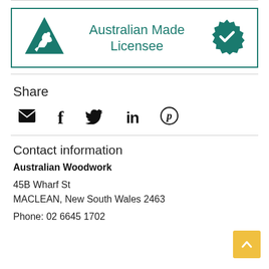[Figure (logo): Australian Made Licensee banner with kangaroo triangle logo on left, text 'Australian Made Licensee' in center, and teal verified badge on right, all inside a teal-bordered rectangle]
Share
[Figure (infographic): Row of social share icons: email (envelope), Facebook (f), Twitter (bird), LinkedIn (in), Pinterest (P circle)]
Contact information
Australian Woodwork
45B Wharf St
MACLEAN, New South Wales 2463
Phone: 02 6645 1702